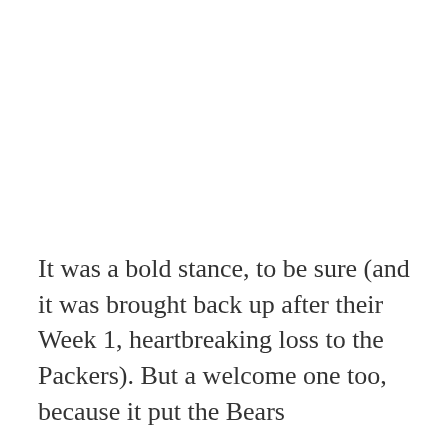It was a bold stance, to be sure (and it was brought back up after their Week 1, heartbreaking loss to the Packers). But a welcome one too, because it put the Bears